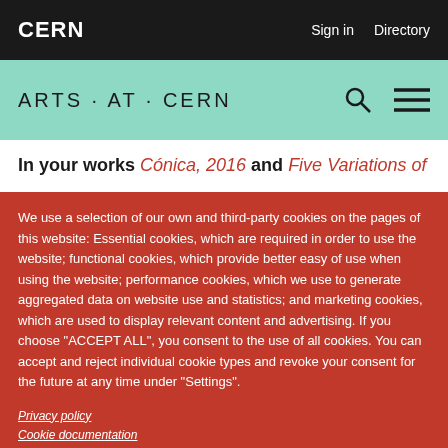CERN   Sign in   Directory
ARTS · AT · CERN
In your works Cónica, 2016 and Five Variations of
We use a selection of our own and third-party cookies on the pages of this website: Essential cookies, which are required in order to use the website; functional cookies, which provide better easy of use when using the website; performance cookies, which we use to generate aggregated data on website use and statistics; and marketing cookies, which are used to display relevant content and advertising. If you choose "ACCEPT ALL", you consent to the use of all cookies. You can accept and reject individual cookie types and revoke your consent for the future at any time under "Settings".
Privacy policy
Cookie documentation